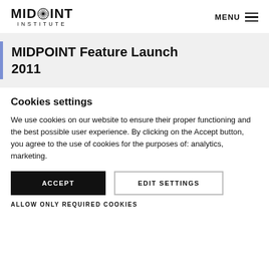MIDPOINT INSTITUTE | MENU
MIDPOINT Feature Launch 2011
Cookies settings
We use cookies on our website to ensure their proper functioning and the best possible user experience. By clicking on the Accept button, you agree to the use of cookies for the purposes of: analytics, marketing.
ACCEPT
EDIT SETTINGS
ALLOW ONLY REQUIRED COOKIES